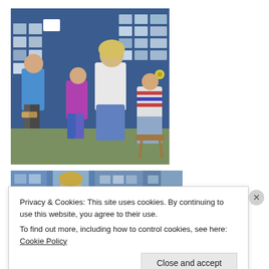[Figure (photo): A teacher or adult woman with blonde hair crouching near children in a classroom. A boy in a blue top stands on the left, a girl in a purple outfit stands in the middle, and another girl in a striped top sits on a stool to the right. The background shows a blue display board covered with pictures and posters.]
[Figure (photo): Partially visible second photo showing a similar classroom setting with display boards and children, cut off by the cookie banner overlay.]
Privacy & Cookies: This site uses cookies. By continuing to use this website, you agree to their use.
To find out more, including how to control cookies, see here: Cookie Policy